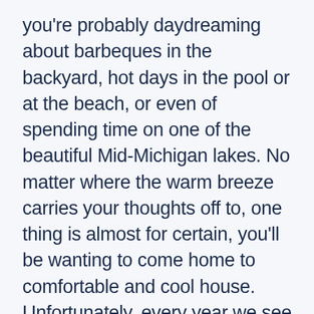you're probably daydreaming about barbeques in the backyard, hot days in the pool or at the beach, or even of spending time on one of the beautiful Mid-Michigan lakes. No matter where the warm breeze carries your thoughts off to, one thing is almost for certain, you'll be wanting to come home to comfortable and cool house. Unfortunately, every year we see far too many home owners with an air conditioner that isn't working on some of the hottest days of the year. Naturally, we always get their A/C up